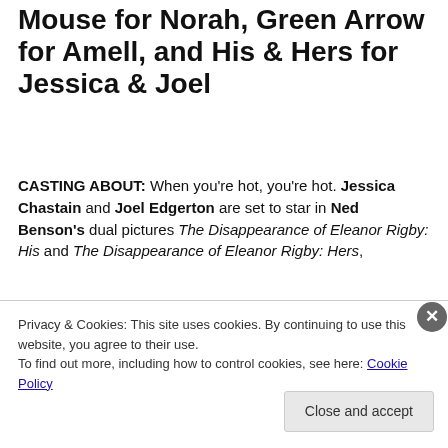Mouse for Norah, Green Arrow for Amell, and His & Hers for Jessica & Joel
CASTING ABOUT: When you're hot, you're hot. Jessica Chastain and Joel Edgerton are set to star in Ned Benson's dual pictures The Disappearance of Eleanor Rigby: His and The Disappearance of Eleanor Rigby: Hers,
[Figure (photo): Partial photo of a woman with reddish-brown hair, cropped by cookie overlay banner]
Privacy & Cookies: This site uses cookies. By continuing to use this website, you agree to their use.
To find out more, including how to control cookies, see here: Cookie Policy
Close and accept